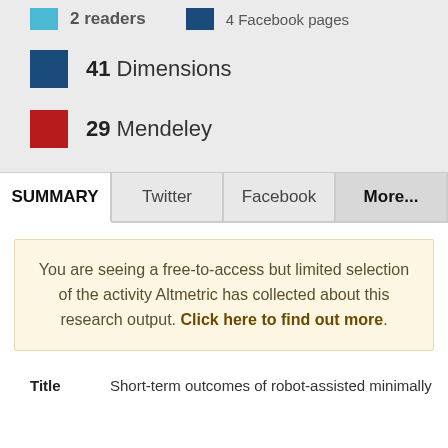41 Dimensions
29 Mendeley
SUMMARY | Twitter | Facebook | More...
You are seeing a free-to-access but limited selection of the activity Altmetric has collected about this research output. Click here to find out more.
Title  Short-term outcomes of robot-assisted minimally